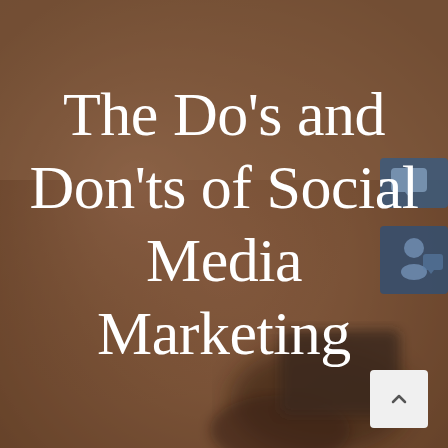[Figure (photo): Blurred background photo of a person's hand holding a smartphone, with warm brownish-beige tones. Social media notification icons are visible on the right side of the image. A scroll-to-top button appears in the bottom-right corner.]
The Do’s and Don’ts of Social Media Marketing